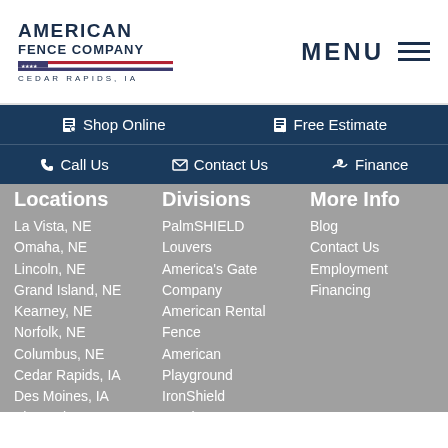AMERICAN FENCE COMPANY CEDAR RAPIDS, IA — MENU
Shop Online  Free Estimate  Call Us  Contact Us  Finance
Locations
La Vista, NE
Omaha, NE
Lincoln, NE
Grand Island, NE
Kearney, NE
Norfolk, NE
Columbus, NE
Cedar Rapids, IA
Des Moines, IA
Sioux City, IA
Ames, IA
Iowa City, IA
Sioux Falls, SD
Rochester, MN
Madison, WI -
Divisions
PalmSHIELD
Louvers
America's Gate Company
American Rental Fence
American Playground
IronShield Coating
American Landscape Company
American Access Company
More Info
Blog
Contact Us
Employment
Financing